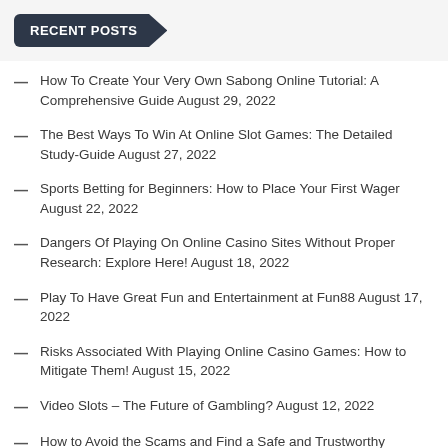RECENT POSTS
How To Create Your Very Own Sabong Online Tutorial: A Comprehensive Guide August 29, 2022
The Best Ways To Win At Online Slot Games: The Detailed Study-Guide August 27, 2022
Sports Betting for Beginners: How to Place Your First Wager August 22, 2022
Dangers Of Playing On Online Casino Sites Without Proper Research: Explore Here! August 18, 2022
Play To Have Great Fun and Entertainment at Fun88 August 17, 2022
Risks Associated With Playing Online Casino Games: How to Mitigate Them! August 15, 2022
Video Slots – The Future of Gambling? August 12, 2022
How to Avoid the Scams and Find a Safe and Trustworthy